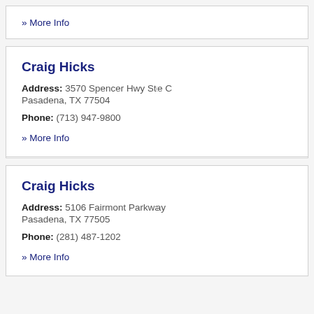» More Info
Craig Hicks
Address: 3570 Spencer Hwy Ste C Pasadena, TX 77504
Phone: (713) 947-9800
» More Info
Craig Hicks
Address: 5106 Fairmont Parkway Pasadena, TX 77505
Phone: (281) 487-1202
» More Info